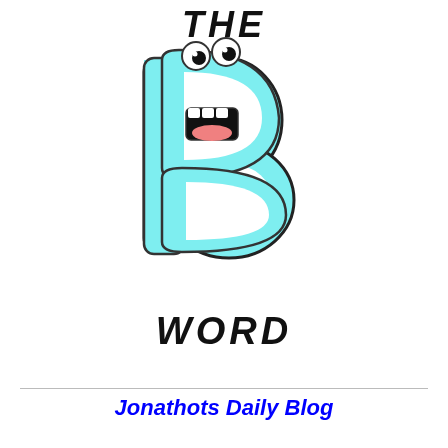THE
[Figure (illustration): Cartoon letter B in light blue/cyan with a face — two round eyes with black pupils on top, an open mouth showing teeth and pink tongue/gums on the upper bump, and a D-shaped cutout on the lower bump. The letter has a rounded, friendly appearance with a dark outline.]
WORD
Jonathots Daily Blog